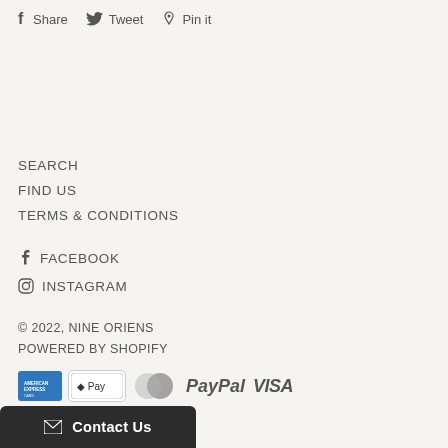f Share   Tweet   Pin it
SEARCH
FIND US
TERMS & CONDITIONS
f FACEBOOK
INSTAGRAM
© 2022, NINE ORIENS
POWERED BY SHOPIFY
[Figure (other): Payment method icons: American Express, Apple Pay, MasterCard, PayPal, Visa]
Contact Us